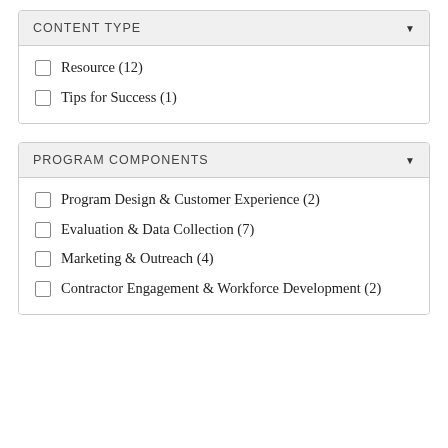CONTENT TYPE
Resource (12)
Tips for Success (1)
PROGRAM COMPONENTS
Program Design & Customer Experience (2)
Evaluation & Data Collection (7)
Marketing & Outreach (4)
Contractor Engagement & Workforce Development (2)